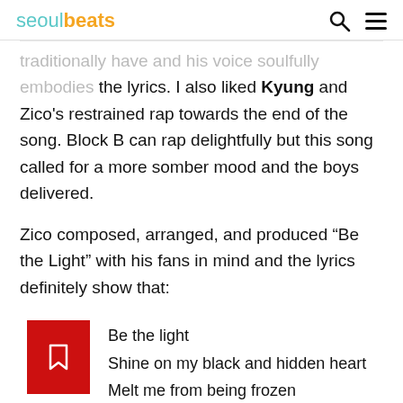seoulbeats
traditionally have and his voice soulfully embodies the lyrics. I also liked Kyung and Zico's restrained rap towards the end of the song. Block B can rap delightfully but this song called for a more somber mood and the boys delivered.
Zico composed, arranged, and produced “Be the Light” with his fans in mind and the lyrics definitely show that:
Be the light
Shine on my black and hidden heart
Melt me from being frozen